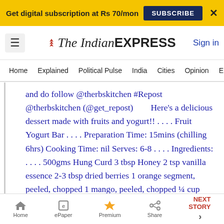Get digital subscription at Rs 70/mon   SUBSCRIBE   X
The Indian EXPRESS   Sign in
Home  Explained  Political Pulse  India  Cities  Opinion  Entertainment
and do follow @therbskitchen #Repost @therbskitchen (@get_repost)         Here’s a delicious dessert made with fruits and yogurt!! . . . . Fruit Yogurt Bar . . . . Preparation Time: 15mins (chilling 6hrs) Cooking Time: nil Serves: 6-8 . . . . Ingredients: . . . . 500gms Hung Curd 3 tbsp Honey 2 tsp vanilla essence 2-3 tbsp dried berries 1 orange segment, peeled, chopped 1 mango, peeled, chopped ¼ cup cornflakes 8
Home  ePaper  Premium  Share  NEXT STORY